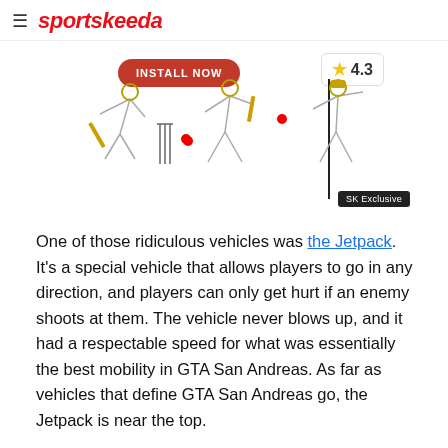sportskeeda
[Figure (illustration): Cricket game advertisement banner with INSTALL NOW button, 4.3 star rating badge, cricket player illustrations, and SK Exclusive label. Vertical line element on right side.]
One of those ridiculous vehicles was the Jetpack. It's a special vehicle that allows players to go in any direction, and players can only get hurt if an enemy shoots at them. The vehicle never blows up, and it had a respectable speed for what was essentially the best mobility in GTA San Andreas. As far as vehicles that define GTA San Andreas go, the Jetpack is near the top.